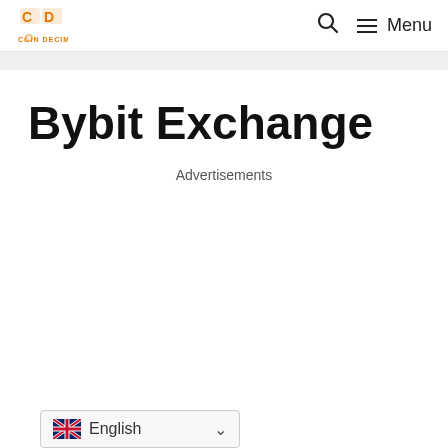Coin Decimal — Menu
Bybit Exchange
Advertisements
English